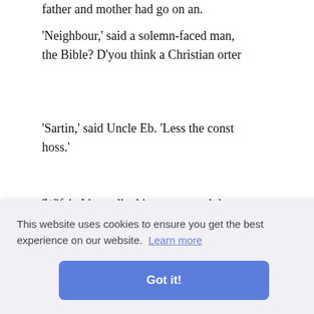'Neighbour,' said a solemn-faced man, the Bible? D'you think a Christian orter
'Sartin,' said Uncle Eb. 'Less the constr hoss.'
'Wife'n I hes talked it over a good dea minister 'at preaches over 'n our neighb 'em wings.'
'S'pose if he'd ever wanted 'm t' skate he
ooves us
ween bit at's com: es an' ba God sure-
bit. Don' make no difference t' him wh
This website uses cookies to ensure you get the best experience on our website. Learn more